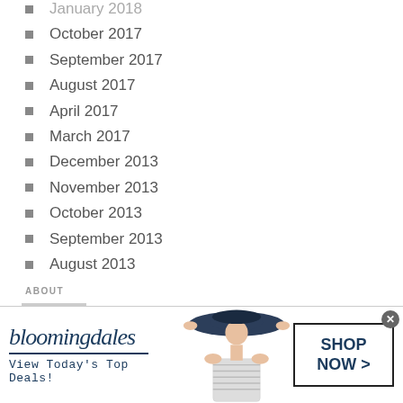January 2018
October 2017
September 2017
August 2017
April 2017
March 2017
December 2013
November 2013
October 2013
September 2013
August 2013
ABOUT
We help entrepreneurs, innovators, and enterprises leverage information technology to drive massive
[Figure (illustration): Bloomingdale's advertisement banner with logo, tagline 'View Today's Top Deals!', model with hat, and 'SHOP NOW >' button]